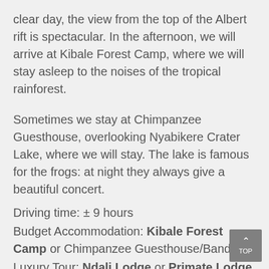clear day, the view from the top of the Albert rift is spectacular. In the afternoon, we will arrive at Kibale Forest Camp, where we will stay asleep to the noises of the tropical rainforest.
Sometimes we stay at Chimpanzee Guesthouse, overlooking Nyabikere Crater Lake, where we will stay. The lake is famous for the frogs: at night they always give a beautiful concert.
Driving time: ± 9 hours
Budget Accommodation: Kibale Forest Camp or Chimpanzee Guesthouse/Bandas
Luxury Tour: Ndali Lodge or Primate Lodge